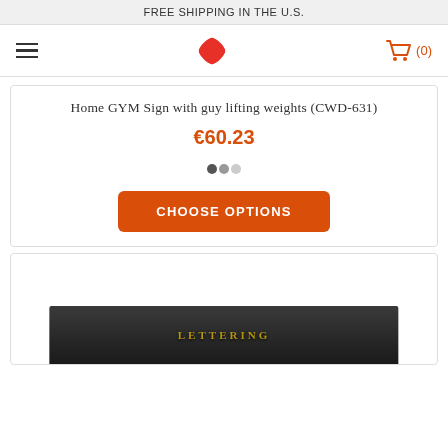FREE SHIPPING IN THE U.S.
[Figure (logo): Navigation bar with hamburger menu, red pinwheel/ninja star logo, and orange shopping cart icon with (0) count]
Home GYM Sign with guy lifting weights (CWD-631)
€60.23
[Figure (other): Three dot carousel indicators: dark, medium gray, light gray]
CHOOSE OPTIONS
[Figure (photo): Second product card showing bottom portion of a decorative sign with golden/brass lettering on dark background]